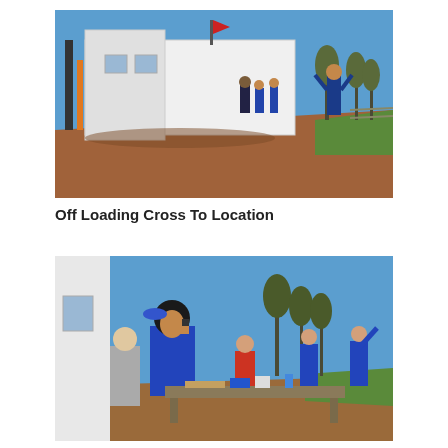[Figure (photo): Outdoor construction site photo showing a white house being placed on a foundation. Workers in blue outfits and others stand around the structure on a red clay dirt area. Blue sky and trees visible in background. Orange straps visible on left side.]
Off Loading Cross To Location
[Figure (photo): Outdoor photo showing a group of volunteers in blue shirts working outside next to a white building. A woman in the foreground holds a phone to her ear and wears a blue shirt. Others work in the background with supplies on a table. Blue sky and bare trees visible.]